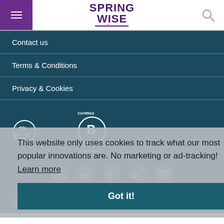SPRINGWISE
Contact us
Terms & Conditions
Privacy & Cookies
[Figure (logo): 1% For The Planet logo and Certified B Corporation logo on dark teal background]
This website only uses cookies to track what our most popular innovations are. No marketing or ad-tracking!  Learn more
Got it!
[Figure (infographic): Row of social media icons: Facebook, Twitter, Tumblr, LinkedIn, Instagram]
© 2022 Springwise | Powered by Pugpig Design by Kirsty Ludbrook & Co.